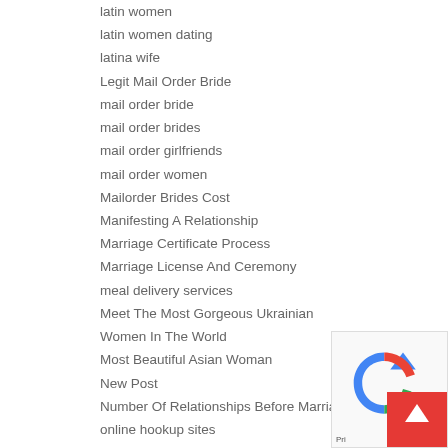latin women
latin women dating
latina wife
Legit Mail Order Bride
mail order bride
mail order brides
mail order girlfriends
mail order women
Mailorder Brides Cost
Manifesting A Relationship
Marriage Certificate Process
Marriage License And Ceremony
meal delivery services
Meet The Most Gorgeous Ukrainian Women In The World
Most Beautiful Asian Woman
New Post
Number Of Relationships Before Marriage
online hookup sites
Payday Loans
Payday Loans Near me
Payday Loans Online
Play Roms Online